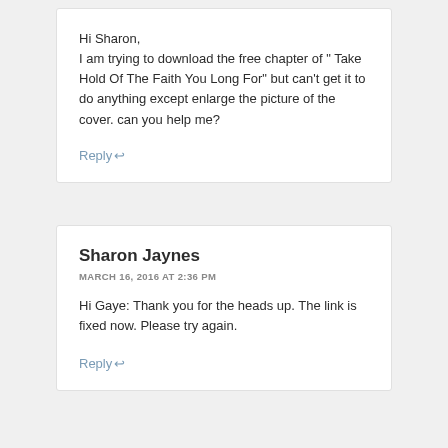Hi Sharon,
I am trying to download the free chapter of " Take Hold Of The Faith You Long For" but can't get it to do anything except enlarge the picture of the cover. can you help me?
Reply ↩
Sharon Jaynes
MARCH 16, 2016 AT 2:36 PM
Hi Gaye: Thank you for the heads up. The link is fixed now. Please try again.
Reply ↩